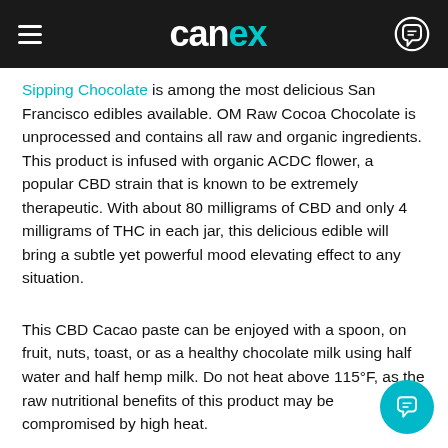CANEX
Sipping Chocolate is among the most delicious San Francisco edibles available. OM Raw Cocoa Chocolate is unprocessed and contains all raw and organic ingredients. This product is infused with organic ACDC flower, a popular CBD strain that is known to be extremely therapeutic. With about 80 milligrams of CBD and only 4 milligrams of THC in each jar, this delicious edible will bring a subtle yet powerful mood elevating effect to any situation.
This CBD Cacao paste can be enjoyed with a spoon, on fruit, nuts, toast, or as a healthy chocolate milk using half water and half hemp milk. Do not heat above 115°F, as the raw nutritional benefits of this product may be compromised by high heat.